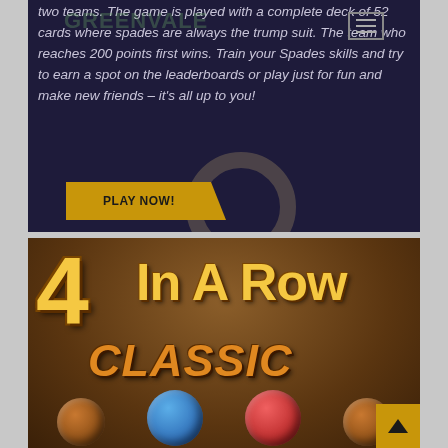two teams. The game is played with a complete deck of 52 cards where spades are always the trump suit. The team who reaches 200 points first wins. Train your Spades skills and try to earn a spot on the leaderboards or play just for fun and make new friends – it's all up to you!
[Figure (screenshot): 4 In A Row Classic game banner showing large golden text '4 In A Row' and 'CLASSIC' on a brown background with colored game tokens (blue, red, brown) at the bottom.]